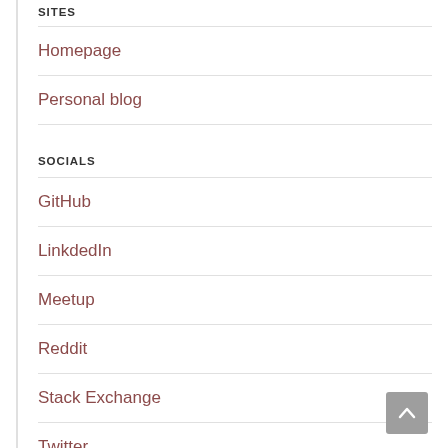SITES
Homepage
Personal blog
SOCIALS
GitHub
LinkdedIn
Meetup
Reddit
Stack Exchange
Twitter